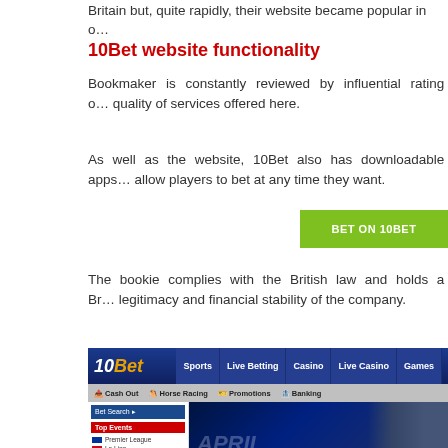Britain but, quite rapidly, their website became popular in o…
10Bet website functionality
Bookmaker is constantly reviewed by influential rating o… quality of services offered here.
As well as the website, 10Bet also has downloadable apps… allow players to bet at any time they want.
[Figure (other): Green button reading BET ON 10BET]
The bookie complies with the British law and holds a Br… legitimacy and financial stability of the company.
[Figure (screenshot): Screenshot of the 10Bet website showing the navigation bar with Sports, Live Betting, Casino, Live Casino, Games tabs, sub-navigation with Cash Out, Horse Racing, Promotions, Banking, a sidebar with Bet Search and Top Events including Premier League, La Liga, Serie A, Bundesliga, ATP Monte Carlo, Ayr - All Races, and a main content area showing April promotions and a football player image, with a match footer showing Hannover vs. Monchengladbach 15.01 | 18:30 Germany - 1.Bundesliga]